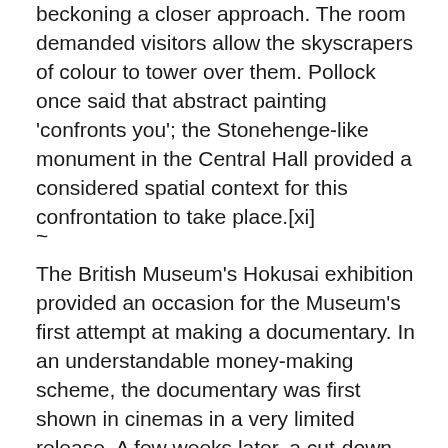beckoning a closer approach. The room demanded visitors allow the skyscrapers of colour to tower over them. Pollock once said that abstract painting 'confronts you'; the Stonehenge-like monument in the Central Hall provided a considered spatial context for this confrontation to take place.[xi]
~
The British Museum's Hokusai exhibition provided an occasion for the Museum's first attempt at making a documentary. In an understandable money-making scheme, the documentary was first shown in cinemas in a very limited release. A few weeks later, a cut-down, hour-long version was shown on BBC 4, opening up the documentary's audience so that anyone with a TV